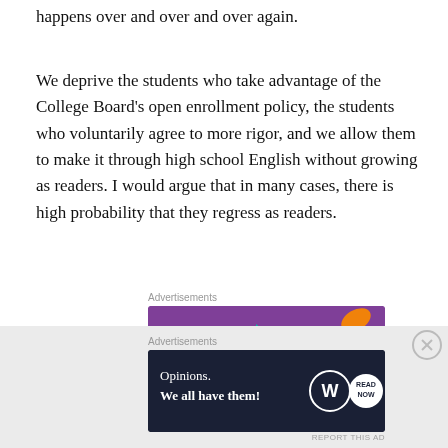happens over and over and over again.
We deprive the students who take advantage of the College Board's open enrollment policy, the students who voluntarily agree to more rigor, and we allow them to make it through high school English without growing as readers. I would argue that in many cases, there is high probability that they regress as readers.
[Figure (other): WooCommerce advertisement banner: purple background with WooCommerce logo and text 'How to start selling subscriptions online', with decorative colored leaf shapes on the right.]
How does that make any sense?
[Figure (other): WordPress advertisement banner: dark navy background with text 'Opinions. We all have them!' and WordPress logo circle icons on the right.]